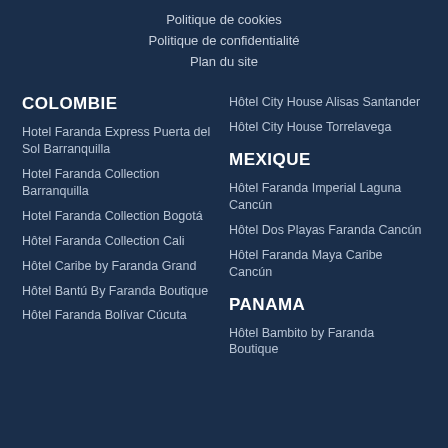Politique de cookies
Politique de confidentialité
Plan du site
COLOMBIE
Hotel Faranda Express Puerta del Sol Barranquilla
Hotel Faranda Collection Barranquilla
Hotel Faranda Collection Bogotá
Hôtel Faranda Collection Cali
Hôtel Caribe by Faranda Grand
Hôtel Bantú By Faranda Boutique
Hôtel Faranda Bolívar Cúcuta
Hôtel City House Alisas Santander
Hôtel City House Torrelavega
MEXIQUE
Hôtel Faranda Imperial Laguna Cancún
Hôtel Dos Playas Faranda Cancún
Hôtel Faranda Maya Caribe Cancún
PANAMA
Hôtel Bambito by Faranda Boutique